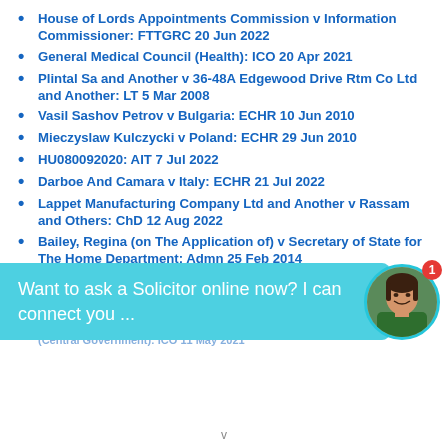House of Lords Appointments Commission v Information Commissioner: FTTGRC 20 Jun 2022
General Medical Council (Health): ICO 20 Apr 2021
Plintal Sa and Another v 36-48A Edgewood Drive Rtm Co Ltd and Another: LT 5 Mar 2008
Vasil Sashov Petrov v Bulgaria: ECHR 10 Jun 2010
Mieczyslaw Kulczycki v Poland: ECHR 29 Jun 2010
HU080092020: AIT 7 Jul 2022
Darboe And Camara v Italy: ECHR 21 Jul 2022
Lappet Manufacturing Company Ltd and Another v Rassam and Others: ChD 12 Aug 2022
Bailey, Regina (on The Application of) v Secretary of State for The Home Department: Admn 25 Feb 2014
Basin and Others v Turkey: ECHR 3 Dec 2009
Anniina Emilia Kellosalmi Finland: ECHR 29 Jun 2010 (partially visible)
[Figure (screenshot): Chat overlay widget with teal background reading 'Want to ask a Solicitor online now? I can connect you ...' with a circular avatar photo of a smiling woman and a red notification badge showing '1']
Foreign, Commonwealth and Development Office (Central Government): ICO 11 May 2021 (partially visible)